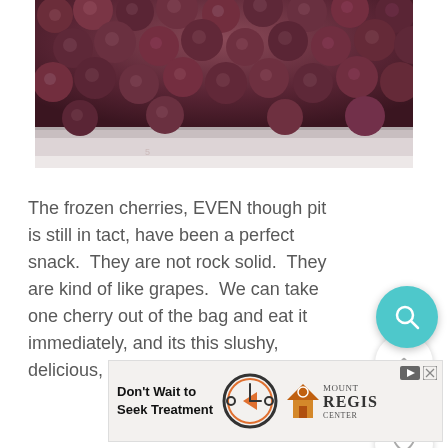[Figure (photo): Close-up photo of frozen dark red/purple cherries on a white tray or baking sheet]
The frozen cherries, EVEN though pit is still in tact, have been a perfect snack.  They are not rock solid.  They are kind of like grapes.  We can take one cherry out of the bag and eat it immediately, and its this slushy, delicious, refreshing snack.
[Figure (other): Ad banner: Don't Wait to Seek Treatment - Mount Regis Center advertisement with clock graphic]
[Figure (other): UI upvote button (chevron up, circle)]
71
[Figure (other): UI heart/favorite button (circle)]
[Figure (other): UI search button (teal circle with magnifying glass)]